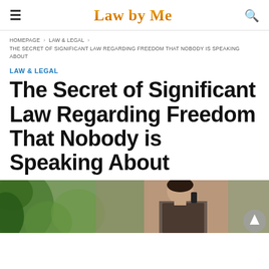Law by Me
HOMEPAGE › LAW & LEGAL › THE SECRET OF SIGNIFICANT LAW REGARDING FREEDOM THAT NOBODY IS SPEAKING ABOUT
LAW & LEGAL
The Secret of Significant Law Regarding Freedom That Nobody is Speaking About
[Figure (photo): A woman on a phone call, with green foliage in the background, partially visible at the bottom of the page.]